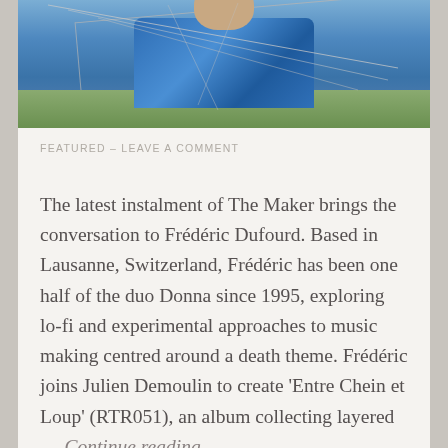[Figure (photo): Photo of a man in a blue jacket, partially cropped, with antenna wires visible in the background, outdoors.]
FEATURED  -  LEAVE A COMMENT
The latest instalment of The Maker brings the conversation to Frédéric Dufourd. Based in Lausanne, Switzerland, Frédéric has been one half of the duo Donna since 1995, exploring lo-fi and experimental approaches to music making centred around a death theme. Frédéric joins Julien Demoulin to create 'Entre Chein et Loup' (RTR051), an album collecting layered … Continue reading